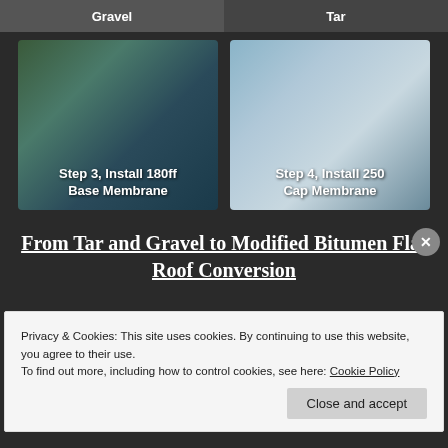[Figure (photo): Top strip with two labels: Gravel (left) and Tar (right)]
[Figure (photo): Step 3, Install 180ff Base Membrane - photo of dark roofing membrane installation]
[Figure (photo): Step 4, Install 250 Cap Membrane - photo of light-colored flat roof]
From Tar and Gravel to Modified Bitumen Flat Roof Conversion
Privacy & Cookies: This site uses cookies. By continuing to use this website, you agree to their use.
To find out more, including how to control cookies, see here: Cookie Policy